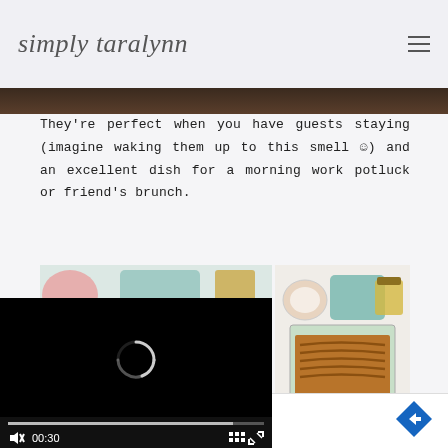simply taralynn
[Figure (photo): Dark top image strip showing food from above]
They’re perfect when you have guests staying (imagine waking them up to this smell ☺) and an excellent dish for a morning work potluck or friend’s brunch.
[Figure (photo): Photo of cooking ingredients and a baking dish with cinnamon-sugar topping]
[Figure (screenshot): Video player with black background, loading spinner, progress bar at 00:30]
[Figure (photo): Advertisement banner with TopGolf logo, Dine-in check and Delivery X icons]